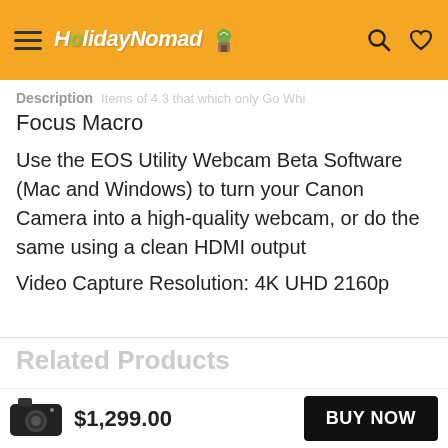HolidayNomad [logo with hamburger menu, search icon, heart icon]
Description
Focus Macro
Use the EOS Utility Webcam Beta Software (Mac and Windows) to turn your Canon Camera into a high-quality webcam, or do the same using a clean HDMI output
Video Capture Resolution: 4K UHD 2160p
Related Products
$1,299.00
BUY NOW